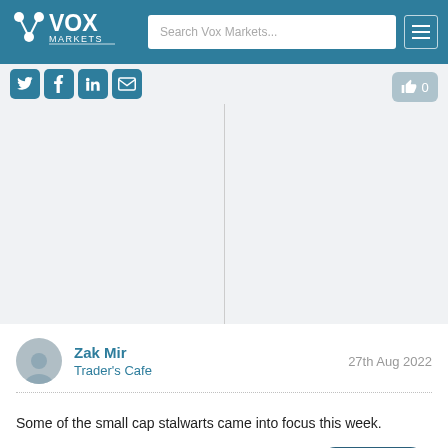[Figure (logo): Vox Markets logo with search bar and hamburger menu on dark teal navigation bar]
[Figure (infographic): Social media icons (Twitter, Facebook, LinkedIn, Email) and a like button showing 0]
Zak Mir
Trader's Cafe
27th Aug 2022
Some of the small cap stalwarts came into focus this week.